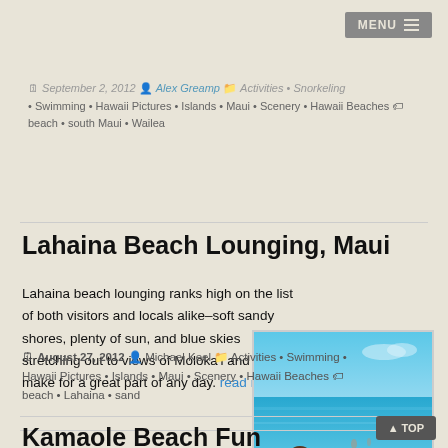MENU
September 2, 2012 • Alex Greamp • Activities • Snorkeling • Swimming • Hawaii Pictures • Islands • Maui • Scenery • Hawaii Beaches 🏷 beach • south Maui • Wailea
Lahaina Beach Lounging, Maui
Lahaina beach lounging ranks high on the list of both visitors and locals alike–soft sandy shores, plenty of sun, and blue skies stretching out to views of Moloka'i and Lana'i make for a great part of any day. read more
[Figure (photo): Beach photo showing a woman with long hair sitting on rocks looking out at the blue ocean with sandy beach, blue sky, and beach items including a striped towel at Lahaina Beach, Maui]
August 27, 2012 • Michael Keel • Activities • Swimming • Hawaii Pictures • Islands • Maui • Scenery • Hawaii Beaches 🏷 beach • Lahaina • sand
Kamaole Beach Fun